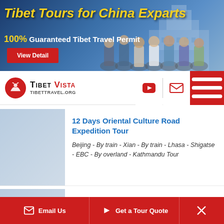[Figure (screenshot): Tibet Tours for China Exparts promotional banner with group photo and Potala Palace background. Text: Tibet Tours for China Exparts, 100% Guaranteed Tibet Travel Permit, View Detail button.]
[Figure (logo): Tibet Vista / TibetTravel.org logo with navigation icons (YouTube, email, hamburger menu)]
12 Days Oriental Culture Road Expedition Tour
Beijing - By train - Xian - By train - Lhasa - Shigatse - EBC - By overland - Kathmandu Tour
12 Days China Golden Triangle Tour with Tibet Discovery and Train Experience
Email Us  Get a Tour Quote  ✕